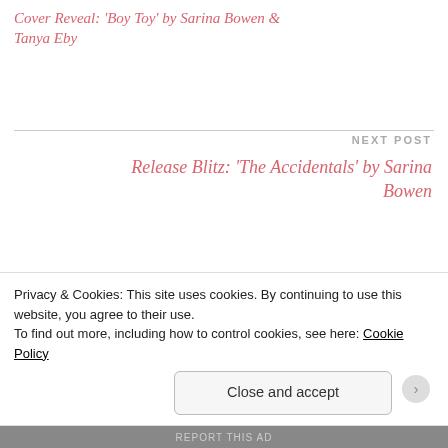Cover Reveal: 'Boy Toy' by Sarina Bowen & Tanya Eby
NEXT POST
Release Blitz: 'The Accidentals' by Sarina Bowen
6 thoughts on “‘The Accidentals’ by Sarina Bowen”
Dani☆Touch My Spine Book
Privacy & Cookies: This site uses cookies. By continuing to use this website, you agree to their use.
To find out more, including how to control cookies, see here: Cookie Policy
Close and accept